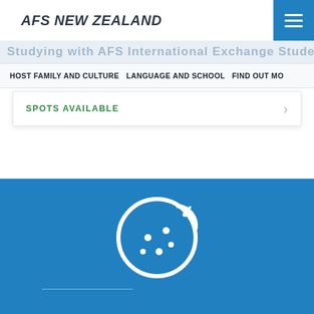AFS NEW ZEALAND
HOST FAMILY AND CULTURE   LANGUAGE AND SCHOOL   FIND OUT MO
SPOTS AVAILABLE
[Figure (illustration): Cookie icon (white outline of a bitten cookie with dots/chips) on a blue background]